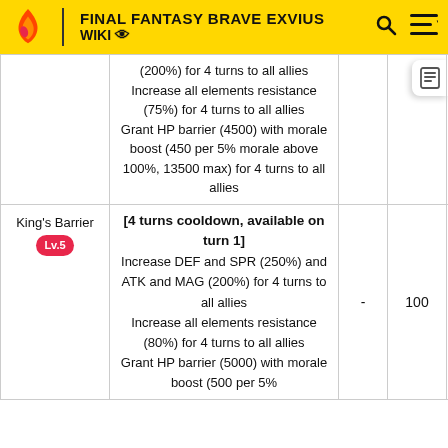FINAL FANTASY BRAVE EXVIUS WIKI
| Name | Effect |  |  |  |
| --- | --- | --- | --- | --- |
|  | (200%) for 4 turns to all allies
Increase all elements resistance (75%) for 4 turns to all allies
Grant HP barrier (4500) with morale boost (450 per 5% morale above 100%, 13500 max) for 4 turns to all allies |  |  |  |
| King's Barrier
Lv.5 | [4 turns cooldown, available on turn 1]
Increase DEF and SPR (250%) and ATK and MAG (200%) for 4 turns to all allies
Increase all elements resistance (80%) for 4 turns to all allies
Grant HP barrier (5000) with morale boost (500 per 5% | - | 100 | Gr |